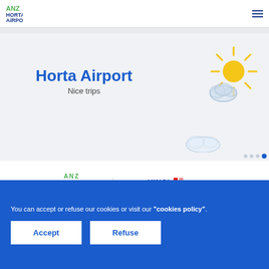[Figure (logo): ANA Horta Airport logo with green ANZ mark and blue HORTA AIRPORT text]
Horta Airport
Nice trips
[Figure (illustration): Weather icon: sun with rays and cloud]
[Figure (logo): ANA Aeroportos de Portugal logo and Powered by VINCI Airports logo]
You can accept or refuse our cookies or visit our "cookies policy".